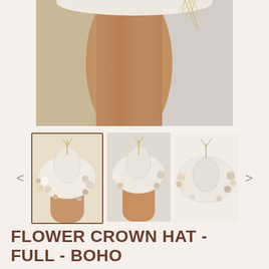[Figure (photo): Large main product photo showing a person holding a wide-brimmed boho hat with dried flowers against a neutral background. The hat brim is visible at the top with dried pampas grass, and the person's arm/shoulder is visible in warm tan tones.]
[Figure (photo): Three thumbnail images of the Flower Crown Hat - Full - Boho product. First thumbnail (active, with brown border) shows the hat from front with white and cream dried flowers. Second thumbnail shows the hat held up from below. Third thumbnail shows the hat lying flat on a white surface with flowers arrangement visible.]
FLOWER CROWN HAT - FULL - BOHO